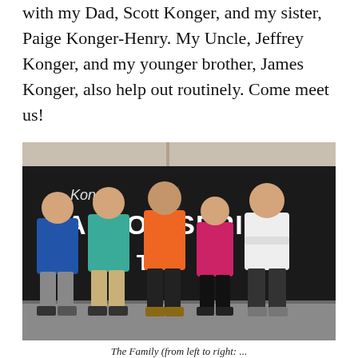with my Dad, Scott Konger, and my sister, Paige Konger-Henry. My Uncle, Jeffrey Konger, and my younger brother, James Konger, also help out routinely. Come meet us!
[Figure (photo): Five people standing in front of a black sign reading 'Konger Tarpon Springs' something. From left to right: a man in a blue t-shirt, a man in a teal/turquoise shirt, a young man in an orange shirt, a young woman in a pink/magenta long-sleeve shirt, and a young man in a white t-shirt with arms crossed.]
The Family (from left to right: ...